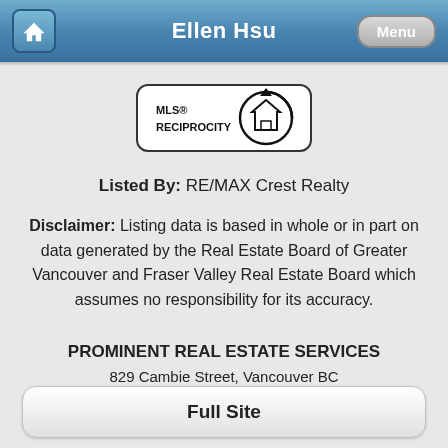Ellen Hsu
[Figure (logo): MLS® Reciprocity logo — circular house icon with MLS® RECIPROCITY text]
Listed By: RE/MAX Crest Realty
Disclaimer: Listing data is based in whole or in part on data generated by the Real Estate Board of Greater Vancouver and Fraser Valley Real Estate Board which assumes no responsibility for its accuracy.
PROMINENT REAL ESTATE SERVICES
829 Cambie Street, Vancouver BC
778-317-5113
Full Site